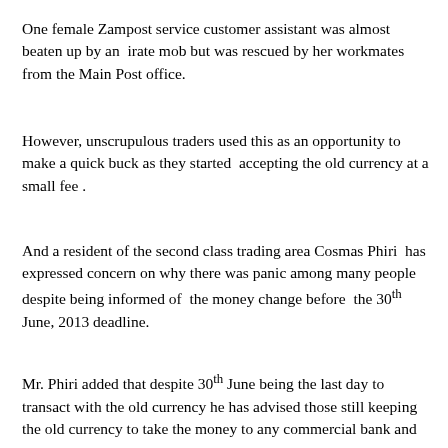One female Zampost service customer assistant was almost beaten up by an irate mob but was rescued by her workmates from the Main Post office.
However, unscrupulous traders used this as an opportunity to make a quick buck as they started accepting the old currency at a small fee .
And a resident of the second class trading area Cosmas Phiri has expressed concern on why there was panic among many people despite being informed of the money change before the 30th June, 2013 deadline.
Mr. Phiri added that despite 30th June being the last day to transact with the old currency he has advised those still keeping the old currency to take the money to any commercial bank and any